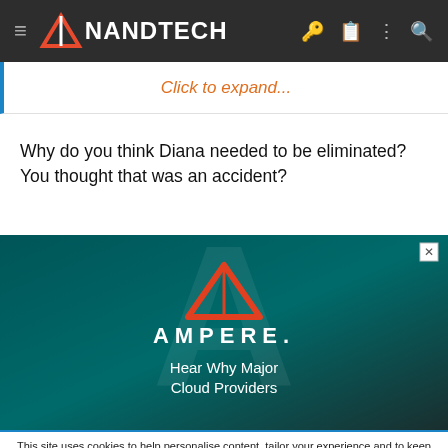AnandTech
Click to expand...
Why do you think Diana needed to be eliminated? You thought that was an accident?
[Figure (advertisement): Ampere advertisement with red triangle logo, text 'AMPERE.' and 'Hear Why Major Cloud Providers']
This site uses cookies to help personalise content, tailor your experience and to keep you logged in if you register. By continuing to use this site, you are consenting to our use of cookies.